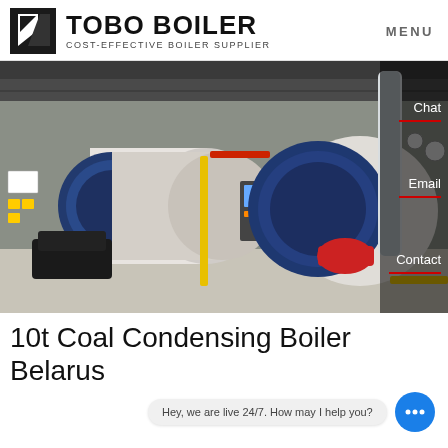TOBO BOILER · COST-EFFECTIVE BOILER SUPPLIER · MENU
[Figure (photo): Industrial boiler room showing two large horizontal fire-tube boilers with blue cladding, red burner components, yellow and red piping, gauges, and control panels. The boilers are installed in a factory/industrial setting with concrete floors and metal structural supports.]
10t Coal Condensing Boiler Belarus
Hey, we are live 24/7. How may I help you?